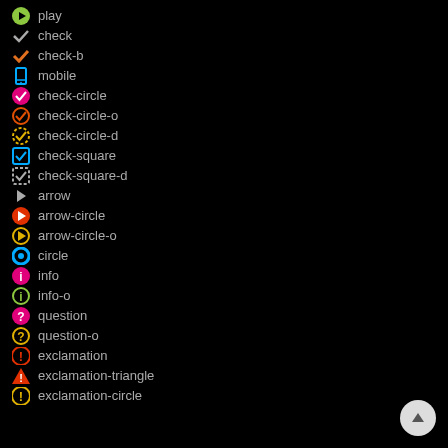play
check
check-b
mobile
check-circle
check-circle-o
check-circle-d
check-square
check-square-d
arrow
arrow-circle
arrow-circle-o
circle
info
info-o
question
question-o
exclamation
exclamation-triangle
exclamation-circle